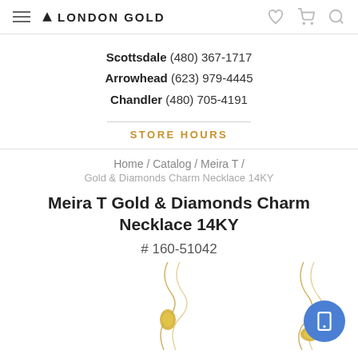London Gold — navigation header with hamburger menu, logo, heart, cart, and search icons
Scottsdale (480) 367-1717
Arrowhead (623) 979-4445
Chandler (480) 705-4191
STORE HOURS
Home / Catalog / Meira T /
Gold & Diamonds Charm Necklace 14KY
Meira T Gold & Diamonds Charm Necklace 14KY
# 160-51042
[Figure (photo): Partial view of gold necklace chains with small charm pendants on white background]